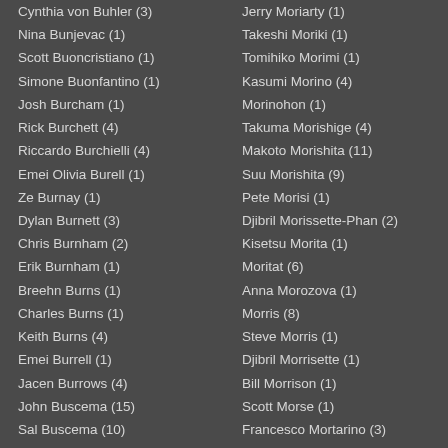Cynthia von Buhler (3)
Nina Bunjevac (1)
Scott Buoncristiano (1)
Simone Buonfantino (1)
Josh Burcham (1)
Rick Burchett (4)
Riccardo Burchielli (4)
Emei Olivia Burell (1)
Ze Burnay (1)
Dylan Burnett (3)
Chris Burnham (2)
Erik Burnham (1)
Breehn Burns (1)
Charles Burns (1)
Keith Burns (4)
Emei Burrell (1)
Jacen Burrows (4)
John Buscema (15)
Sal Buscema (10)
Jerry Moriarty (1)
Takeshi Moriki (1)
Tomihiko Morimi (1)
Kasumi Morino (4)
Morinohon (1)
Takuma Morishige (4)
Makoto Morishita (11)
Suu Morishita (9)
Pete Morisi (1)
Djibril Morissette-Phan (2)
Kisetsu Morita (1)
Moritat (6)
Anna Morozova (1)
Morris (8)
Steve Morris (1)
Djibril Morrisette (1)
Bill Morrison (1)
Scott Morse (1)
Francesco Mortarino (3)